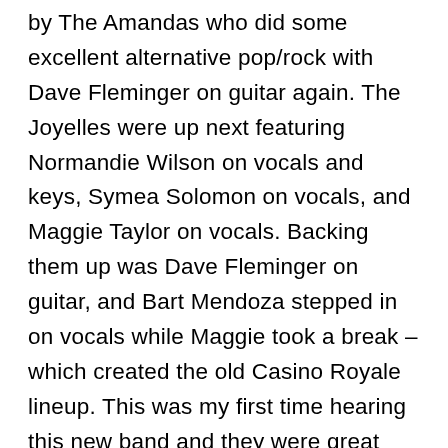by The Amandas who did some excellent alternative pop/rock with Dave Fleminger on guitar again. The Joyelles were up next featuring Normandie Wilson on vocals and keys, Symea Solomon on vocals, and Maggie Taylor on vocals. Backing them up was Dave Fleminger on guitar, and Bart Mendoza stepped in on vocals while Maggie took a break – which created the old Casino Royale lineup. This was my first time hearing this new band and they were great with beautiful blending vocal harmonies on a mix of obscure and popular tunes reaching back to the pop 60s. Following The Joyelles was Manual Scan, with Bart Mendoza on guitar, Dave Fleminger (does he ever rest?) on keys, Kevin Donaker-Ring